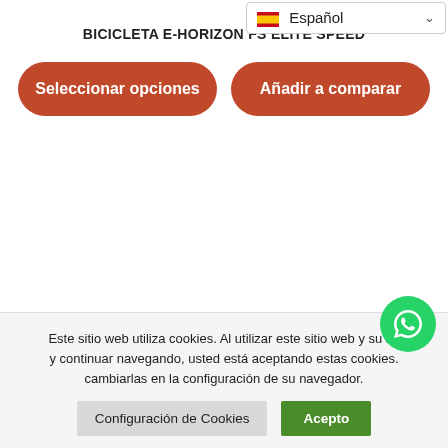[Figure (screenshot): Language selector dropdown showing Spanish flag and 'Español' text with chevron]
BICICLETA E-HORIZON FS ELITE SPEED
[Figure (screenshot): Two red rounded buttons: 'Seleccionar opciones' and 'Añadir a comparar']
Este sitio web utiliza cookies. Al utilizar este sitio web y su inf y continuar navegando, usted está aceptando estas cookies. cambiarlas en la configuración de su navegador.
[Figure (screenshot): WhatsApp floating button (green circle with phone icon)]
Configuración de Cookies
Acepto